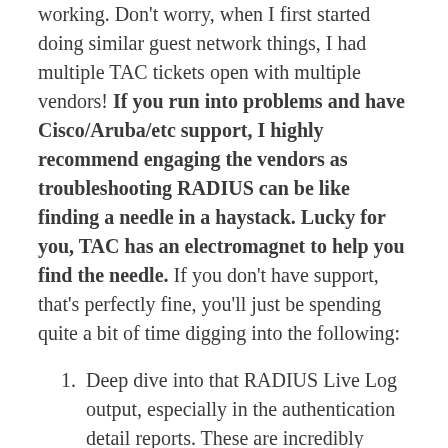working. Don't worry, when I first started doing similar guest network things, I had multiple TAC tickets open with multiple vendors! If you run into problems and have Cisco/Aruba/etc support, I highly recommend engaging the vendors as troubleshooting RADIUS can be like finding a needle in a haystack. Lucky for you, TAC has an electromagnet to help you find the needle. If you don't have support, that's perfectly fine, you'll just be spending quite a bit of time digging into the following:
Deep dive into that RADIUS Live Log output, especially in the authentication detail reports. These are incredibly helpful in determining if ISE is sending the switch